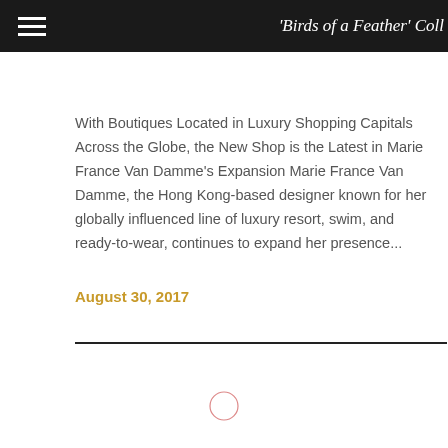'Birds of a Feather' Coll
With Boutiques Located in Luxury Shopping Capitals Across the Globe, the New Shop is the Latest in Marie France Van Damme's Expansion Marie France Van Damme, the Hong Kong-based designer known for her globally influenced line of luxury resort, swim, and ready-to-wear, continues to expand her presence...
August 30, 2017